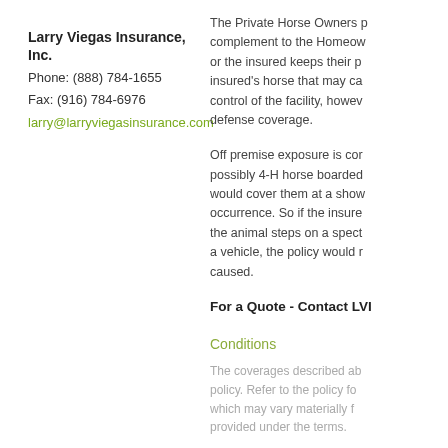Larry Viegas Insurance, Inc.
Phone: (888) 784-1655
Fax: (916) 784-6976
lary@larryviegasinsurance.com
The Private Horse Owners complement to the Homeow or the insured keeps their p insured's horse that may ca control of the facility, howev defense coverage.
Off premise exposure is cor possibly 4-H horse boarded would cover them at a show occurrence. So if the insure the animal steps on a spect a vehicle, the policy would r caused.
For a Quote - Contact LVI
Conditions
The coverages described ab policy. Refer to the policy fo which may vary materially f provided under the terms.